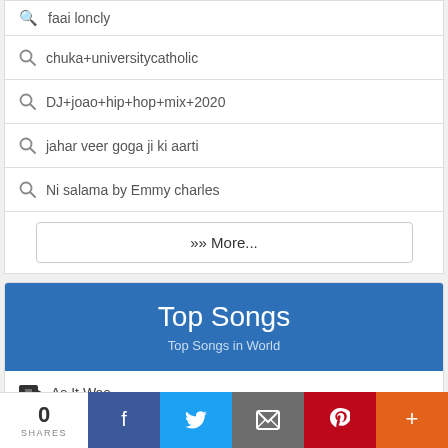faai loncly
chuka+universitycatholic
DJ+joao+hip+hop+mix+2020
jahar veer goga ji ki aarti
Ni salama by Emmy charles
>> More...
Top Songs
Top Songs in World
As It Was
Bad Habit
0 SHARES